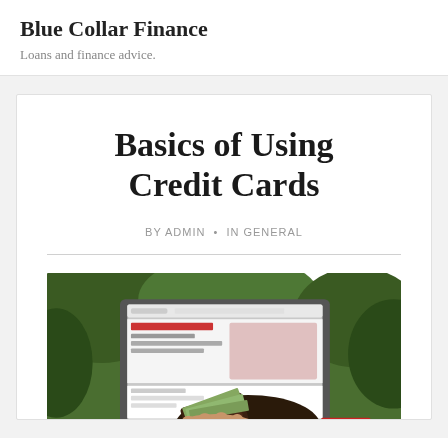Blue Collar Finance
Loans and finance advice.
Basics of Using Credit Cards
BY ADMIN • IN GENERAL
[Figure (photo): Person pulling cash out of a wallet in front of a laptop screen, with green foliage in the background]